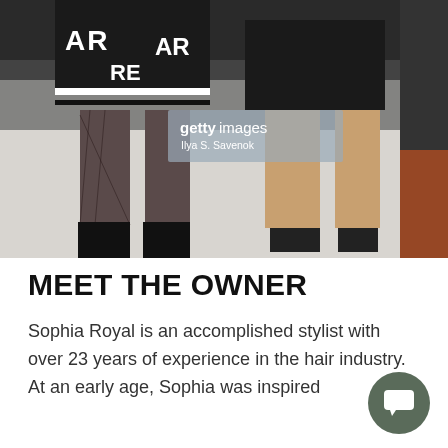[Figure (photo): Fashion runway photo showing two models from the waist down. Left model wears a black-and-white patterned oversized jacket, fishnet tights, and black ankle boots. Right model wears a black leather mini skirt and black heels. Getty Images watermark with credit 'Ilya S. Savenok' is overlaid in the center.]
MEET THE OWNER
Sophia Royal is an accomplished stylist with over 23 years of experience in the hair industry. At an early age, Sophia was inspired to become a stylist...